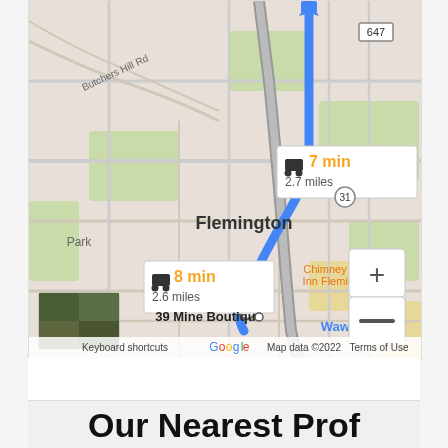[Figure (map): Google Maps screenshot showing driving directions from Costco Wholesale to 39 Mine Boutique in Flemington, NJ. Two route options shown: 7 min / 2.7 miles (blue highlighted route) and 8 min / 2.6 miles (alternate). Map shows Flemington area with Chimney Rock Inn Flemington, Wawa, and road 647 and 31 visible. Zoom controls (+/-) visible. Bottom shows Google branding, Keyboard shortcuts, Map data ©2022, Terms of Use. Small satellite thumbnail in bottom-left corner.]
Our Nearest Prof...